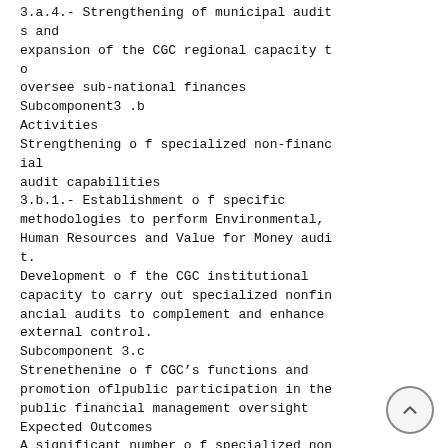3.a.4.- Strengthening of municipal audits and expansion of the CGC regional capacity to oversee sub-national finances
Subcomponent3 .b
Activities
Strengthening o f specialized non-financial audit capabilities
3.b.1.- Establishment o f specific methodologies to perform Environmental, Human Resources and Value for Money audit.
Development o f the CGC institutional capacity to carry out specialized nonfinancial audits to complement and enhance external control.
Subcomponent 3.c
Strenethenine o f CGC’s functions and promotion oflpublic participation in the public financial management oversight
Expected Outcomes
A significant number o f specialized non financial audits are included in CGC...